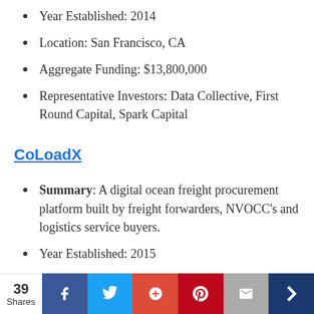Year Established: 2014
Location: San Francisco, CA
Aggregate Funding: $13,800,000
Representative Investors: Data Collective, First Round Capital, Spark Capital
CoLoadX
Summary: A digital ocean freight procurement platform built by freight forwarders, NVOCC's and logistics service buyers.
Year Established: 2015
Location: New York, NY